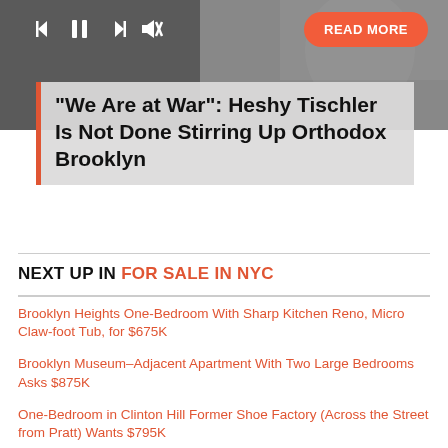[Figure (photo): Dark background photo of people, with media playback controls (skip back, pause, skip forward, mute) visible in top-left and a red 'READ MORE' button in top-right.]
"We Are at War": Heshy Tischler Is Not Done Stirring Up Orthodox Brooklyn
NEXT UP IN FOR SALE IN NYC
Brooklyn Heights One-Bedroom With Sharp Kitchen Reno, Micro Claw-foot Tub, for $675K
Brooklyn Museum–Adjacent Apartment With Two Large Bedrooms Asks $875K
One-Bedroom in Clinton Hill Former Shoe Factory (Across the Street from Pratt) Wants $795K
One-Bedroom With Massive Casement Windows in Tudor City Asks $779K
Windsor Terrace Two-Bedroom With Plentiful Storage,